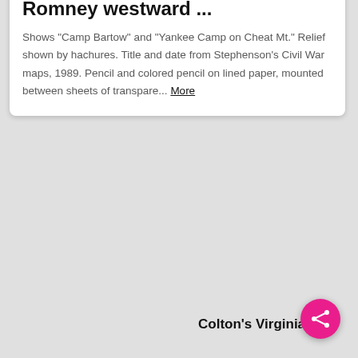Romney westward ...
Shows "Camp Bartow" and "Yankee Camp on Cheat Mt." Relief shown by hachures. Title and date from Stephenson's Civil War maps, 1989. Pencil and colored pencil on lined paper, mounted between sheets of transpare... More
[Figure (map): Historical Civil War map showing rivers, terrain with hachures, and troop positions with pink-shaded areas around a river bend]
[Figure (map): Colton's Virginia map with decorative border, showing state boundaries and topographic features in tan/sepia tones with red outlines]
Colton's Virginia.